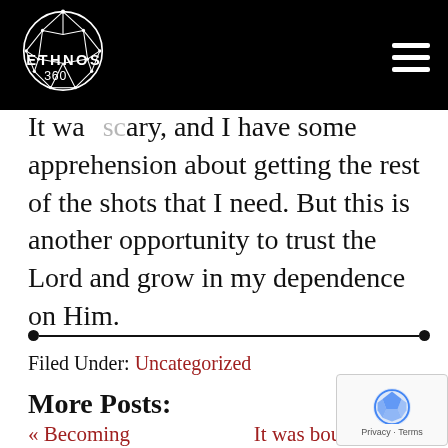ETHNOS 360
It was scary, and I have some apprehension about getting the rest of the shots that I need. But this is another opportunity to trust the Lord and grow in my dependence on Him.
Filed Under: Uncategorized
More Posts:
« Becoming
It was bound to happ
Comments